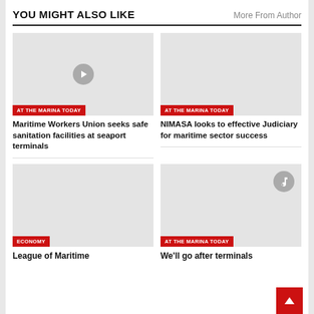YOU MIGHT ALSO LIKE
More From Author
[Figure (photo): Gray placeholder image with play button icon, article thumbnail]
AT THE MARINA TODAY
Maritime Workers Union seeks safe sanitation facilities at seaport terminals
[Figure (photo): Gray placeholder image, article thumbnail]
AT THE MARINA TODAY
NIMASA looks to effective Judiciary for maritime sector success
[Figure (photo): Gray placeholder image, article thumbnail]
ECONOMY
League of Maritime
[Figure (photo): Gray placeholder image with music note icon, article thumbnail]
AT THE MARINA TODAY
We'll go after terminals